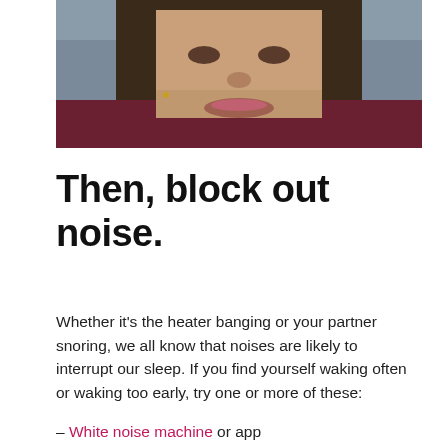[Figure (photo): Close-up photo of a smiling woman with dark curly hair, wearing a dark reddish top, photographed from below chin upward]
Then, block out noise.
Whether it's the heater banging or your partner snoring, we all know that noises are likely to interrupt our sleep. If you find yourself waking often or waking too early, try one or more of these:
– White noise machine or app